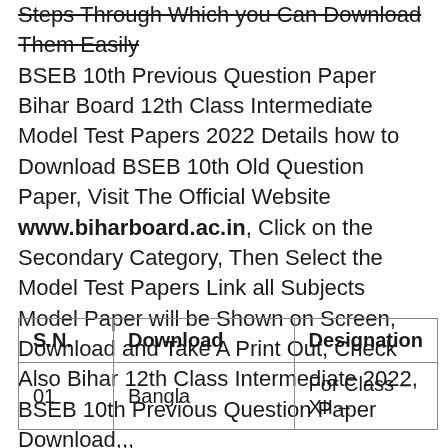Steps Through Which you Can Download Them Easily BSEB 10th Previous Question Paper Bihar Board 12th Class Intermediate Model Test Papers 2022 Details how to Download BSEB 10th Old Question Paper, Visit The Official Website www.biharboard.ac.in, Click on the Secondary Category, Then Select the Model Test Papers Link all Subjects Model Paper will be Shown on Screen, Download and Take A Print Out, Check Also Bihar 12th Class Intermediate 2022, BSEB 10th Previous Question Paper Download,,,
| S.N. | Download | Designation |
| --- | --- | --- |
| 01 | Bangla | For Class –XII – |